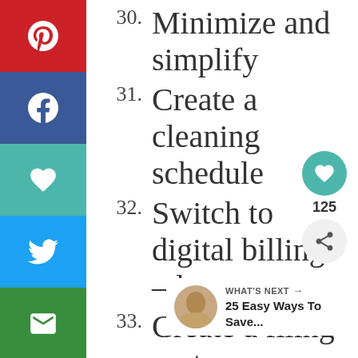30. Minimize and simplify
31. Create a cleaning schedule
32. Switch to digital billing – less paper
33. Create a filing system
[Figure (screenshot): Social media share sidebar with Pinterest, Facebook, heart/save, Twitter, and email buttons on the left side of the page]
[Figure (screenshot): Floating action buttons: teal heart/save button with count 125, and a share button]
[Figure (screenshot): What's Next card with thumbnail and text '25 Easy Ways To Save...']